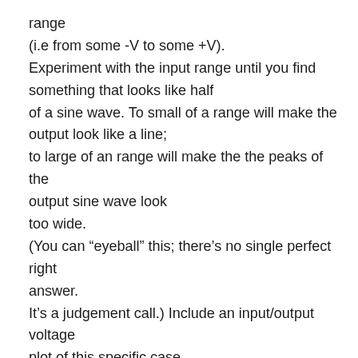range
(i.e from some -V to some +V).
Experiment with the input range until you find something that looks like half of a sine wave. To small of a range will make the output look like a line;
to large of an range will make the the peaks of the output sine wave look too wide.
(You can “eyeball” this; there’s no single perfect right answer.
It’s a judgement call.) Include an input/output voltage plot of this specific case.
The diodes are 1N457s, and the transistor is a 2N4339. If you don’t have